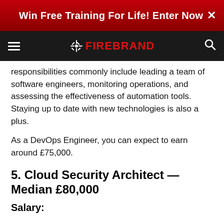Win Free Training For Life! Enter Now  ×
FIREBRAND
responsibilities commonly include leading a team of software engineers, monitoring operations, and assessing the effectiveness of automation tools. Staying up to date with new technologies is also a plus.
As a DevOps Engineer, you can expect to earn around £75,000.
5. Cloud Security Architect — Median £80,000
Salary: